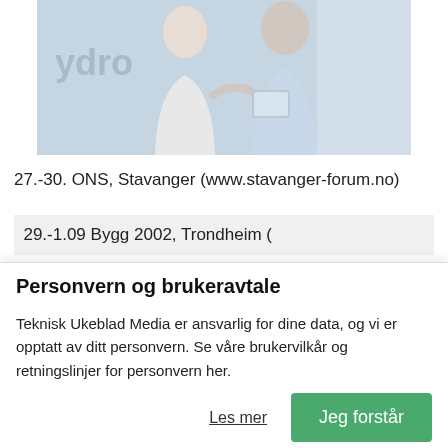[Figure (photo): A photo showing two people (a woman and a man) in an office/business setting, with a partial 'Hydro' logo visible on the left side.]
27.-30. ONS, Stavanger (www.stavanger-forum.no)
29.-1.09 Bygg 2002, Trondheim (
Personvern og brukeravtale
Teknisk Ukeblad Media er ansvarlig for dine data, og vi er opptatt av ditt personvern. Se våre brukervilkår og retningslinjer for personvern her.
Les mer
Jeg forstår